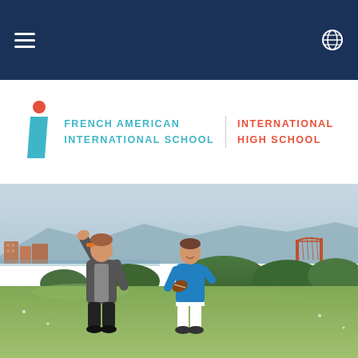Navigation bar with hamburger menu and globe icon
[Figure (logo): French American International School / International High School logo with teal 'i' icon and red dot]
[Figure (photo): Two boys playing with a football on a grass field outdoors with the Golden Gate Bridge and hills visible in the background, San Francisco bay area setting]